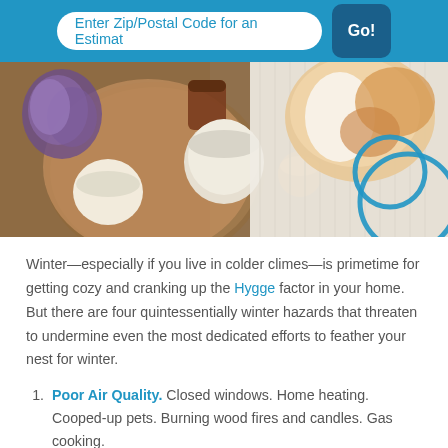Enter Zip/Postal Code for an Estimat  Go!
[Figure (photo): Overhead photo of wooden tray with candles and lavender flowers on left, cozy white knit blanket and orange-and-white cat on right, with blue circular logo overlay on right side]
Winter—especially if you live in colder climes—is primetime for getting cozy and cranking up the Hygge factor in your home. But there are four quintessentially winter hazards that threaten to undermine even the most dedicated efforts to feather your nest for winter.
Poor Air Quality. Closed windows. Home heating. Cooped-up pets. Burning wood fires and candles. Gas cooking.